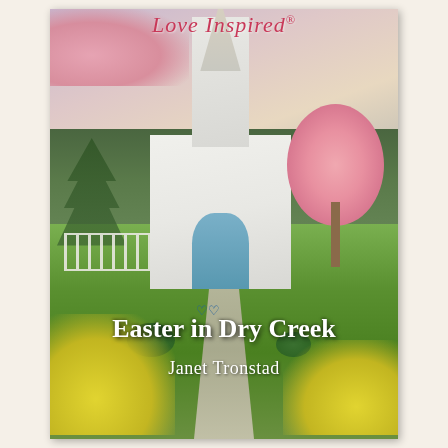[Figure (illustration): Book cover for 'Easter in Dry Creek' by Janet Tronstad, published by Love Inspired. Features a white church with steeple against a pastel sky with pink clouds, surrounded by lush green grass, a white picket fence, pink blossoming trees, cherry blossoms in the top left, and yellow daffodils in the foreground. A stone path leads to the church entrance. The book title and author name are overlaid in white text.]
Easter in Dry Creek
Janet Tronstad